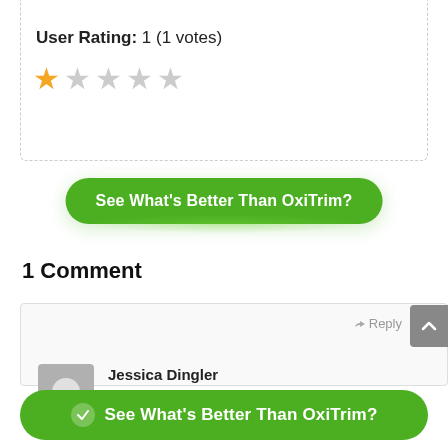User Rating: 1 (1 votes)
[Figure (other): Star rating widget showing 1 out of 5 stars filled in orange, remaining 4 stars in grey]
[Figure (other): Green CTA button reading 'See What's Better Than OxiTrim?']
1 Comment
Reply
Jessica Dingler
January 29, 2020 at 10:01 pm
[Figure (other): Bottom green CTA button with checkmark reading 'See What's Better Than OxiTrim?']